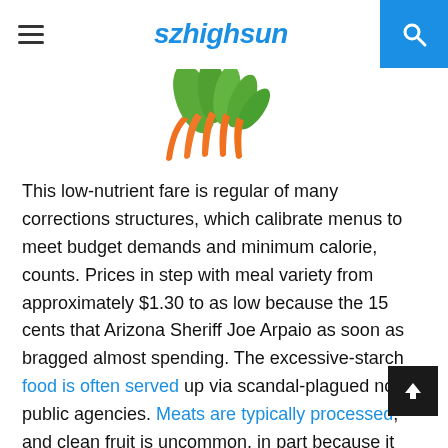szhighsun
[Figure (photo): Carrots with green tops on a white background, partially visible at top of page]
This low-nutrient fare is regular of many corrections structures, which calibrate menus to meet budget demands and minimum calorie, counts. Prices in step with meal variety from approximately $1.30 to as low because the 15 cents that Arizona Sheriff Joe Arpaio as soon as bragged almost spending. The excessive-starch food is often served up via scandal-plagued non-public agencies. Meats are typically processed, and clean fruit is uncommon, in part because it may be was booze.
To complement tasteless grub, prisoners turn to the commissary, says Kimberly Dong, a Tufts University assistant professor getting to know prisoner health. These behind-bars bodega stocks chiefly like Fritos and ramen, which inmates mix